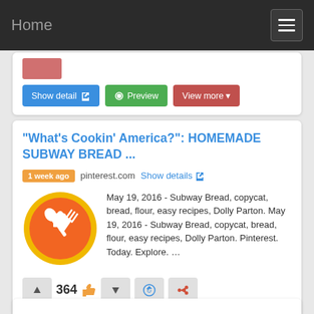Home
Show detail | Preview | View more
"What's Cookin' America?": HOMEMADE SUBWAY BREAD ...
1 week ago  pinterest.com  Show details
May 19, 2016 - Subway Bread, copycat, bread, flour, easy recipes, Dolly Parton. May 19, 2016 - Subway Bread, copycat, bread, flour, easy recipes, Dolly Parton. Pinterest. Today. Explore. …
364  Show detail | Preview | View more